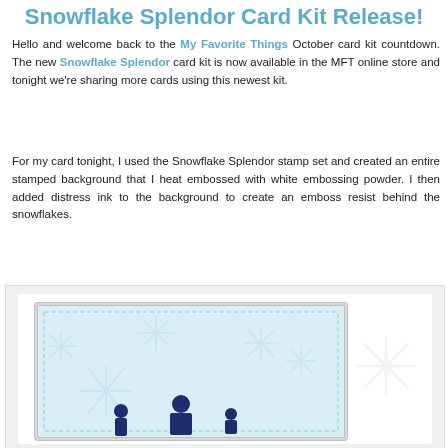Snowflake Splendor Card Kit Release!
Hello and welcome back to the My Favorite Things October card kit countdown. The new Snowflake Splendor card kit is now available in the MFT online store and tonight we're sharing more cards using this newest kit.
For my card tonight, I used the Snowflake Splendor stamp set and created an entire stamped background that I heat embossed with white embossing powder. I then added distress ink to the background to create an emboss resist behind the snowflakes.
[Figure (photo): A handmade card with a light blue snowflake stamped background created with heat embossing technique, featuring silver glitter border and dark blue silhouette figures at the bottom.]